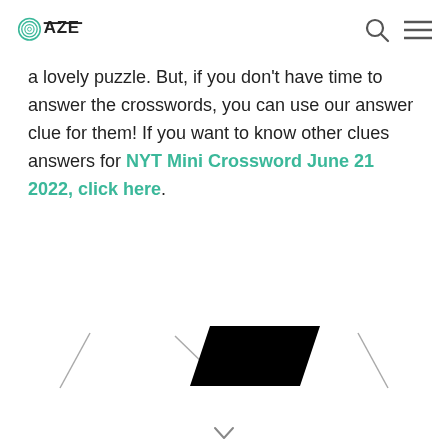OAZE
a lovely puzzle. But, if you don't have time to answer the crosswords, you can use our answer clue for them! If you want to know other clues answers for NYT Mini Crossword June 21 2022, click here.
[Figure (illustration): Navigation arrows and a black parallelogram shape in the center, forming a carousel navigation element at the bottom of the page.]